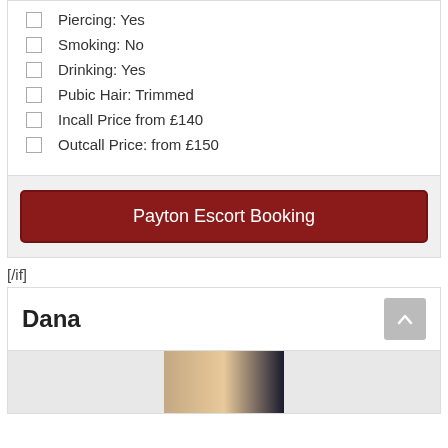Piercing: Yes
Smoking: No
Drinking: Yes
Pubic Hair: Trimmed
Incall Price from £140
Outcall Price: from £150
Payton Escort Booking
[/if]
Dana
[Figure (photo): Partial photo of a person, cropped at bottom of page]